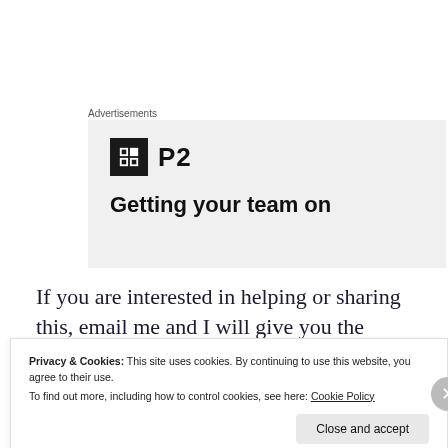Advertisements
[Figure (logo): P2 logo and advertisement banner with text 'Getting your team on']
If you are interested in helping or sharing this, email me and I will give you the details. And thanks in advance for the book and for not running over a squirrel!
Privacy & Cookies: This site uses cookies. By continuing to use this website, you agree to their use.
To find out more, including how to control cookies, see here: Cookie Policy
Close and accept